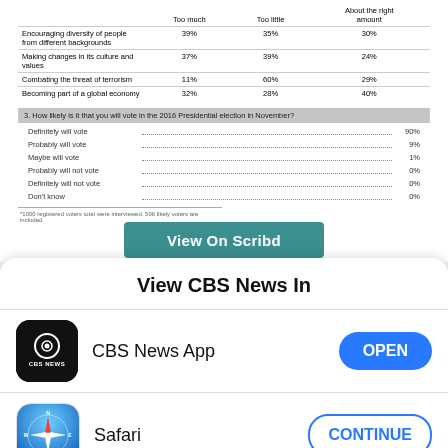|  | Too much | Too little | About the right amount |
| --- | --- | --- | --- |
| Encouraging diversity of people from different backgrounds | 39% | 35% | 30% |
| Making changes in its culture and values | 37% | 39% | 24% |
| Combating the threat of terrorism | 11% | 60% | 29% |
| Becoming part of a global economy | 32% | 28% | 40% |
3. How likely is it that you will vote in the 2016 Presidential election in November?
Definitely will vote ........................................... 90%
Probably will vote ........................................... 9%
Maybe will vote ........................................... 1%
Probably will not vote ........................................... 0%
Definitely will not vote ........................................... 0%
Don't know ........................................... 0%
*1000 registered voters total were interviewed. 596 likely voters are included.
[Figure (screenshot): Teal/green 'View On Scribd' button]
View CBS News In
[Figure (logo): CBS News App icon - black background with CBS eye logo and 'CBS NEWS' text]
CBS News App
[Figure (logo): Safari browser icon - compass on blue gradient background]
Safari